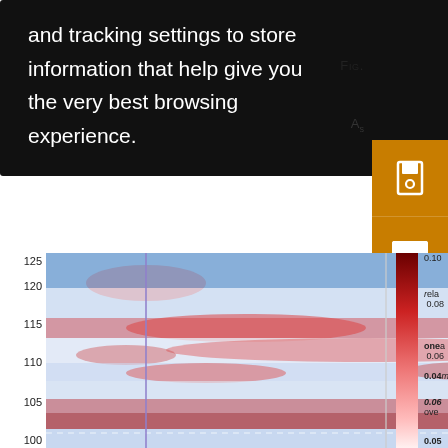and tracking settings to store information that help give you the very best browsing experience.
Fig.
As
[Figure (continuous-plot): Color contour plot showing spatial data with latitude (y-axis: 100–125) vs longitude/time (x-axis). Blue and red shading indicates positive/negative anomalies. Legend shows Maud Rise (purple line) and Astrid Ridge (gray line). A red-to-dark-red colorbar is shown on the right side with labels: 0.10, 0.08, 0.06 (mea), 0.04 (m), 0.06, 0.05.]